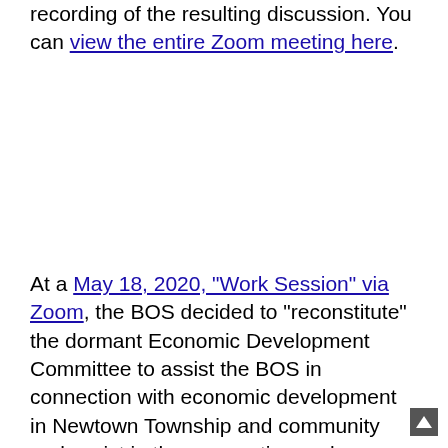recording of the resulting discussion. You can view the entire Zoom meeting here.
At a May 18, 2020, "Work Session" via Zoom, the BOS decided to "reconstitute" the dormant Economic Development Committee to assist the BOS in connection with economic development in Newtown Township and community and assist in the preparation and direction of the reopening of businesses impacted by the COVID-19 pandem